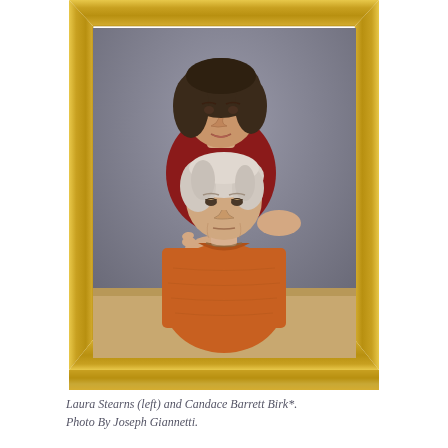[Figure (photo): A framed portrait photograph in a gold ornate frame showing two women: Laura Stearns (left, standing behind, dark curly hair, red top) and Candace Barrett Birk (seated in front, white/grey hair, orange top). The younger woman has her hands on the older woman's shoulders.]
Laura Stearns (left) and Candace Barrett Birk*. Photo By Joseph Giannetti.
It's the age of artificial intelligence, and 85-year-old Marjorie – a jumble